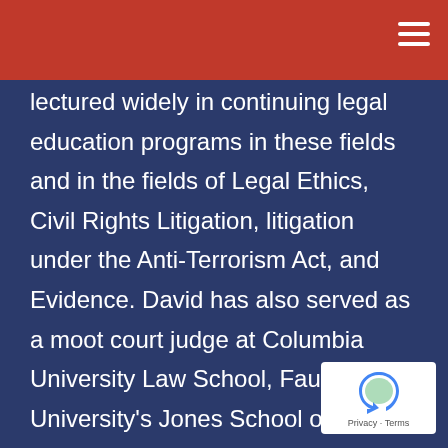lectured widely in continuing legal education programs in these fields and in the fields of Legal Ethics, Civil Rights Litigation, litigation under the Anti-Terrorism Act, and Evidence. David has also served as a moot court judge at Columbia University Law School, Faulkner University's Jones School of Law, and for the American Bar Association. He holds a Master of Laws degree with a concentration in Criminal Law/Procedure and Legal Education